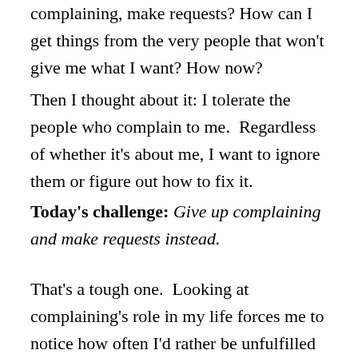complaining, make requests? How can I get things from the very people that won't give me what I want? How now?
Then I thought about it: I tolerate the people who complain to me.  Regardless of whether it's about me, I want to ignore them or figure out how to fix it.
Today's challenge: Give up complaining and make requests instead.
That's a tough one.  Looking at complaining's role in my life forces me to notice how often I'd rather be unfulfilled if it spares me uncomfortable action.  I